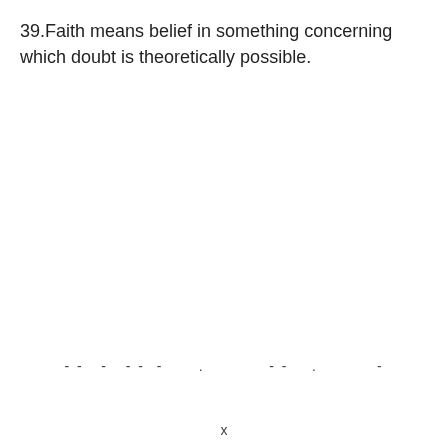39.Faith means belief in something concerning which doubt is theoretically possible.
- -   -   - -  -    .           - -    .          -
x